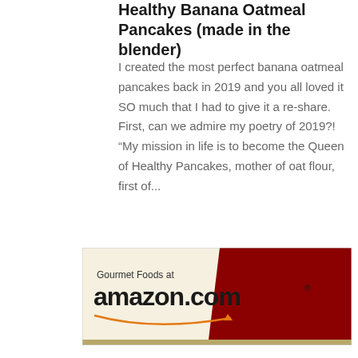Healthy Banana Oatmeal Pancakes (made in the blender)
I created the most perfect banana oatmeal pancakes back in 2019 and you all loved it SO much that I had to give it a re-share. First, can we admire my poetry of 2019?! “My mission in life is to become the Queen of Healthy Pancakes, mother of oat flour, first of...
[Figure (illustration): Amazon Gourmet Foods advertisement banner with beige left panel showing 'Gourmet Foods at amazon.com' text with Amazon arrow logo, and dark red right panel.]